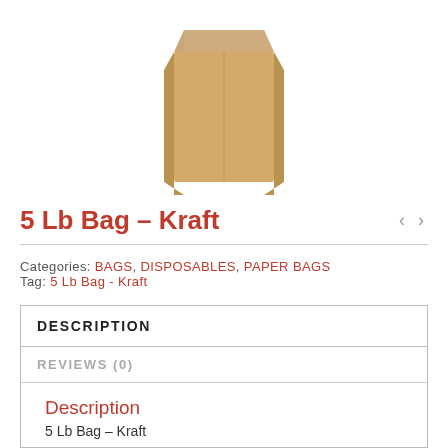[Figure (photo): A brown kraft paper bag, standing upright, viewed from slightly above, white background.]
5 Lb Bag – Kraft
Categories: BAGS, DISPOSABLES, PAPER BAGS
Tag: 5 Lb Bag - Kraft
DESCRIPTION
REVIEWS (0)
Description
5 Lb Bag – Kraft